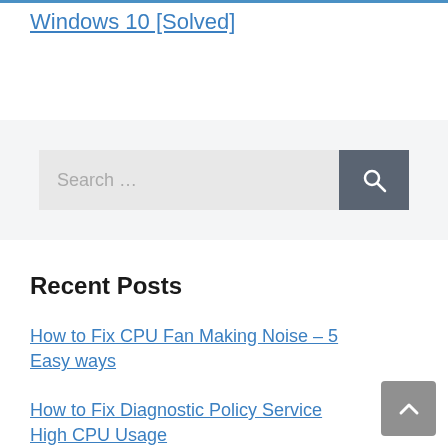Windows 10 [Solved]
[Figure (other): Search bar with text 'Search ...' and a dark grey search button with magnifying glass icon]
Recent Posts
How to Fix CPU Fan Making Noise – 5 Easy ways
How to Fix Diagnostic Policy Service High CPU Usage
How to Fix Runtime Broker High CPU Usage in...